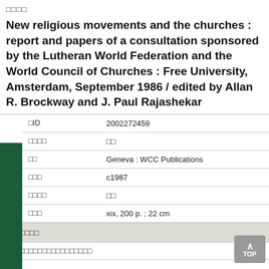□□□□
New religious movements and the churches : report and papers of a consultation sponsored by the Lutheran World Federation and the World Council of Churches : Free University, Amsterdam, September 1986 / edited by Allan R. Brockway and J. Paul Rajashekar
| □ID | 2002272459 |
| □□□□ | □□ |
| □□ | Geneva : WCC Publications |
| □□□ | c1987 |
| □□□□ | □□ |
| □□□ | xix, 200 p. ; 22 cm |
□□□□□□□
□□□□□□□□□□□□□□□□□□□